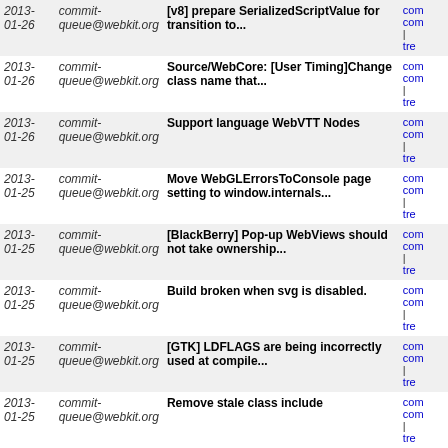| Date | Author | Message | Links |
| --- | --- | --- | --- |
| 2013-01-26 | commit-queue@webkit.org | [v8] prepare SerializedScriptValue for transition to... | com
com
| tre |
| 2013-01-26 | commit-queue@webkit.org | Source/WebCore: [User Timing]Change class name that... | com
com
| tre |
| 2013-01-26 | commit-queue@webkit.org | Support language WebVTT Nodes | com
com
| tre |
| 2013-01-25 | commit-queue@webkit.org | Move WebGLErrorsToConsole page setting to window.internals... | com
com
| tre |
| 2013-01-25 | commit-queue@webkit.org | [BlackBerry] Pop-up WebViews should not take ownership... | com
com
| tre |
| 2013-01-25 | commit-queue@webkit.org | Build broken when svg is disabled. | com
com
| tre |
| 2013-01-25 | commit-queue@webkit.org | [GTK] LDFLAGS are being incorrectly used at compile... | com
com
| tre |
| 2013-01-25 | commit-queue@webkit.org | Remove stale class include | com
com
| tre |
| 2013-01-25 | commit-queue@webkit.org | Web Inspector: highlight occurences of word in DefaultTextEditor | com
com
| tre |
| 2013-01-25 | commit-queue@webkit.org | [TexMap] Flickering after transitions on Apple HTML5... | com
com
| tre |
| 2013-01-25 | commit-queue@webkit.org | Refactor InspectorMemoryAgent: memory data as a map. | com
com
| tre |
| 2013-01-25 | commit-queue@webkit.org | [Texmap] Refactor code related to debug border and... | com
com
| tre |
| 2013-01-25 | commit-queue@webkit.org | Web Inspector: Move dispatchMouseEvent optional | com
com
| tre |